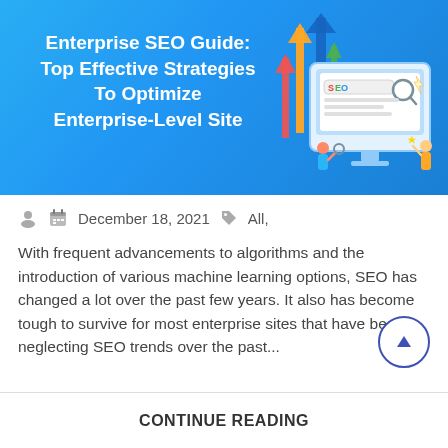[Figure (illustration): Hero banner with blue gradient background. Left side shows bold white text 'Enterprise SEO Guide: Top Effective Strategies To Optimize Enterprise-Level Site'. Right side shows an illustration of a desktop monitor with 'SEO' typed in a search bar, a magnifying glass, colorful upward arrows (blue, orange, green, red), and two cartoon figures interacting with the screen.]
December 18, 2021   All,
With frequent advancements to algorithms and the introduction of various machine learning options, SEO has changed a lot over the past few years. It also has become tough to survive for most enterprise sites that have been neglecting SEO trends over the past...
CONTINUE READING